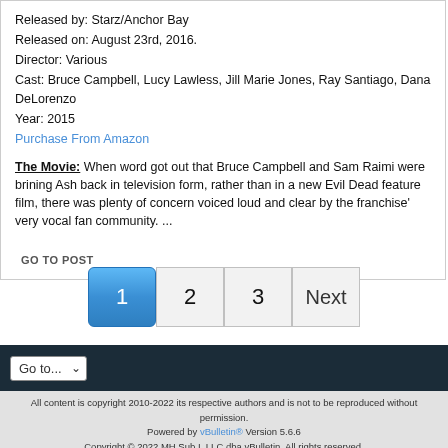Released by: Starz/Anchor Bay
Released on: August 23rd, 2016.
Director: Various
Cast: Bruce Campbell, Lucy Lawless, Jill Marie Jones, Ray Santiago, Dana DeLorenzo
Year: 2015
Purchase From Amazon
The Movie: When word got out that Bruce Campbell and Sam Raimi were brining Ash back in television form, rather than in a new Evil Dead feature film, there was plenty of concern voiced loud and clear by the franchise' very vocal fan community. ...
GO TO POST
1  2  3  Next
Go to...
All content is copyright 2010-2022 its respective authors and is not to be reproduced without permission.
Powered by vBulletin® Version 5.6.6
Copyright © 2022 MH Sub I, LLC dba vBulletin. All rights reserved.
All times are GMT-5. This page was generated at 08:27 PM.